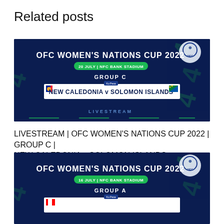Related posts
[Figure (screenshot): OFC Women's Nations Cup 2022 promotional banner - Group C - New Caledonia v Solomon Islands - 20 July | NFC Bank Stadium - Livestream]
LIVESTREAM | OFC WOMEN'S NATIONS CUP 2022 | GROUP C | NEW CALEDONIA v SOLOMON ISLANDS
[Figure (screenshot): OFC Women's Nations Cup 2022 promotional banner - Group A - 16 July | NFC Bank Stadium]